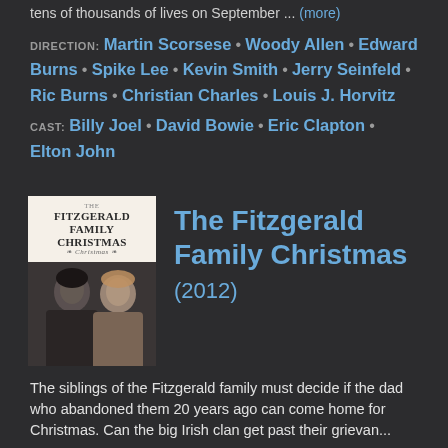tens of thousands of lives on September ... (more)
DIRECTION: Martin Scorsese • Woody Allen • Edward Burns • Spike Lee • Kevin Smith • Jerry Seinfeld • Ric Burns • Christian Charles • Louis J. Horvitz
CAST: Billy Joel • David Bowie • Eric Clapton • Elton John
[Figure (photo): Movie poster for The Fitzgerald Family Christmas showing title text on light background above a photo of a man and woman facing each other]
The Fitzgerald Family Christmas (2012)
The siblings of the Fitzgerald family must decide if the dad who abandoned them 20 years ago can come home for Christmas. Can the big Irish clan get past their grievances...